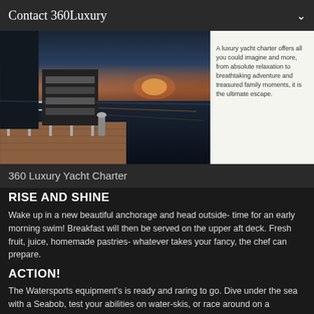Contact 360Luxury
[Figure (photo): Yacht deck photo showing wooden deck, railings, stairs leading up, with a sunset view over calm water. Accompanied by white panel with description text: A luxury yacht charter offers all you could imagine and more, from absolute relaxation to breathtaking adventure and treasured family moments, it is the ultimate escape.]
360 Luxury Yacht Charter
RISE AND SHINE
Wake up in a new beautiful anchorage and head outside- time for an early morning swim! Breakfast will then be served on the upper aft deck. Fresh fruit, juice, homemade pastries- whatever takes your fancy, the chef can prepare.
ACTION!
The Watersports equipment's is ready and raring to go. Dive under the sea with a Seabob, test your abilities on water-skis, or race around on a Waverunner..choice is yours!